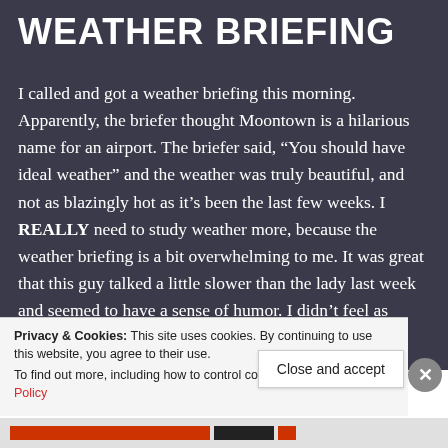WEATHER BRIEFING
I called and got a weather briefing this morning. Apparently, the briefer thought Moontown is a hilarious name for an airport. The briefer said, “You should have ideal weather” and the weather was truly beautiful, and not as blazingly hot as it’s been the last few weeks. I REALLY need to study weather more, because the weather briefing is a bit overwhelming to me. It was great that this guy talked a little slower than the lady last week and seemed to have a sense of humor. I didn’t feel as
Privacy & Cookies: This site uses cookies. By continuing to use this website, you agree to their use.
To find out more, including how to control cookies, see here: Cookie Policy
Close and accept